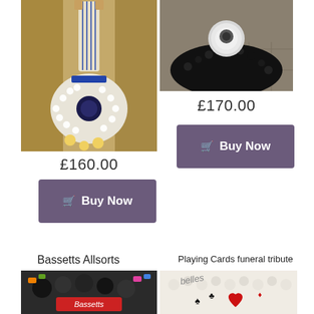[Figure (photo): Funeral flower tribute shaped like a guitar made of white flowers with blue details]
£160.00
Buy Now
[Figure (photo): Dark fluffy circular funeral flower tribute with a white circular element on top]
£170.00
Buy Now
Bassetts Allsorts
[Figure (photo): Bassetts Allsorts funeral flower tribute with black and colorful elements and Bassetts label]
Playing Cards funeral tribute
[Figure (photo): Playing cards funeral tribute made of white flowers with red heart and card suit symbols]